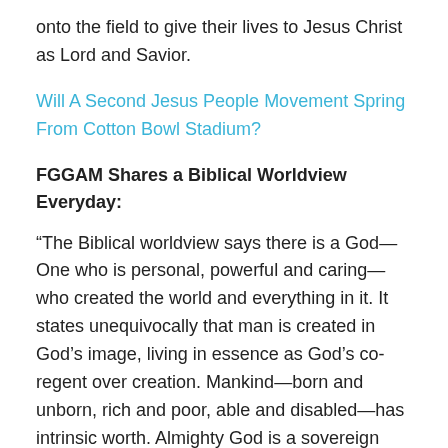onto the field to give their lives to Jesus Christ as Lord and Savior.
Will A Second Jesus People Movement Spring From Cotton Bowl Stadium?
FGGAM Shares a Biblical Worldview Everyday:
“The Biblical worldview says there is a God—One who is personal, powerful and caring—who created the world and everything in it. It states unequivocally that man is created in God’s image, living in essence as God’s co-regent over creation. Mankind—born and unborn, rich and poor, able and disabled—has intrinsic worth. Almighty God is a sovereign God, ruler over nations, states, empires, and governments. He is to be worshiped and obeyed through the precepts and principles revealed in His infallible Word. He not only exists,